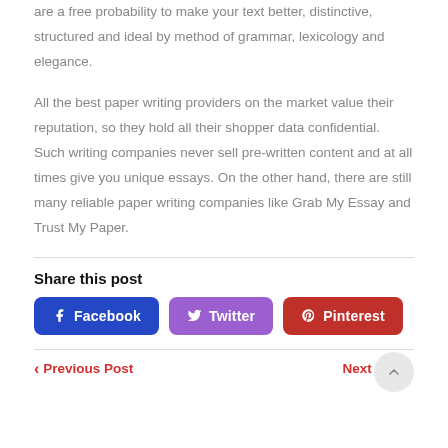are a free probability to make your text better, distinctive, structured and ideal by method of grammar, lexicology and elegance.
All the best paper writing providers on the market value their reputation, so they hold all their shopper data confidential. Such writing companies never sell pre-written content and at all times give you unique essays. On the other hand, there are still many reliable paper writing companies like Grab My Essay and Trust My Paper.
Share this post
Facebook | Twitter | Pinterest
Previous Post | Next Post